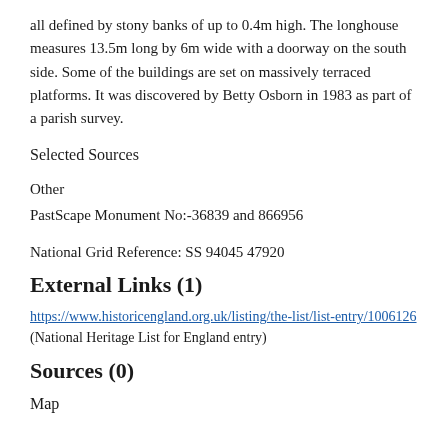all defined by stony banks of up to 0.4m high. The longhouse measures 13.5m long by 6m wide with a doorway on the south side. Some of the buildings are set on massively terraced platforms. It was discovered by Betty Osborn in 1983 as part of a parish survey.
Selected Sources
Other
PastScape Monument No:-36839 and 866956
National Grid Reference: SS 94045 47920
External Links (1)
https://www.historicengland.org.uk/listing/the-list/list-entry/1006126 (National Heritage List for England entry)
Sources (0)
Map